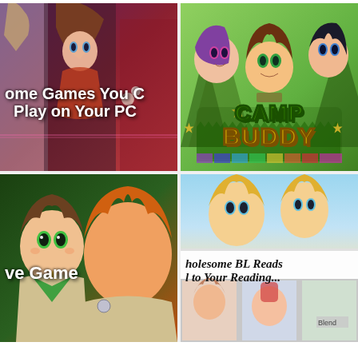[Figure (illustration): Card 1: Anime game collage with text overlay 'some Games You Can Play on Your PC' on dark purple/red background with multiple anime characters]
[Figure (illustration): Card 2: Camp Buddy visual novel logo with anime characters (purple-haired, brown-haired, dark-haired) on green background with 'CAMP BUDDY' logo text]
[Figure (illustration): Card 3: Anime characters from a love game - green-eyed character and orange-haired character in scout uniforms with text 've Game' overlay]
[Figure (illustration): Card 4: Wholesome BL Reads article thumbnail with anime characters and text 'holesome BL Reads to Your Reading' with manga/anime image grid at bottom including 'Blend' label]